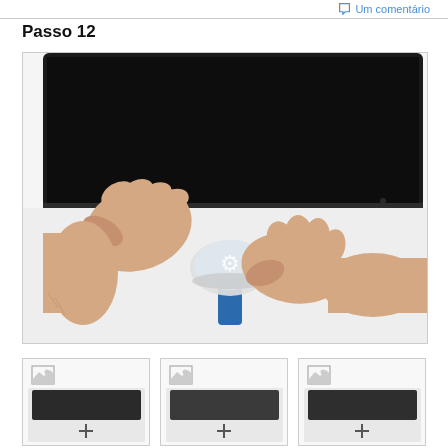Um comentário
Passo 12
[Figure (photo): Two hands using an iFixit opening tool (suction cup with blue handle) to separate the glass panel of a large black-screened device (likely an iMac or iPad), viewed from below on a white surface.]
[Figure (photo): Thumbnail 1 - small preview image]
[Figure (photo): Thumbnail 2 - small preview image]
[Figure (photo): Thumbnail 3 - small preview image]